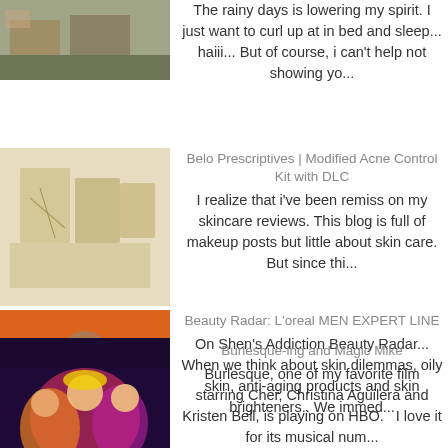[Figure (photo): Thumbnail image - outdoor/nature scene with foliage]
The rainy days is lowering my spirit. I just want to curl up at in bed and sleep... haiii... But of course, i can't help not showing yo...
[Figure (photo): Thumbnail image - Belo Prescriptives product boxes]
Belo Prescriptives | Modified Acne Control Kit with DLC
I realize that i've been remiss on my skincare reviews. This blog is full of makeup posts but little about skin care. But since thi...
[Figure (photo): Thumbnail image - L'Oreal Men Expert orange advertisement with male models]
Beauty Radar: L'oreal MEN EXPERT LINE
On Shen's Addiction Beauty Radar... When we think about skin dilemmas, oily skin, anti-aging products and skin brighteners.. We immed...
[Figure (photo): Thumbnail image - Burlesque movie poster with colorful theatrical scene]
Burlesque-ing and Magic Mike
Burlesque, one of my favorite film starring Cher, Christina Aguilera and Kristen Bell, is playing on HBO.   I love it for its musical num...